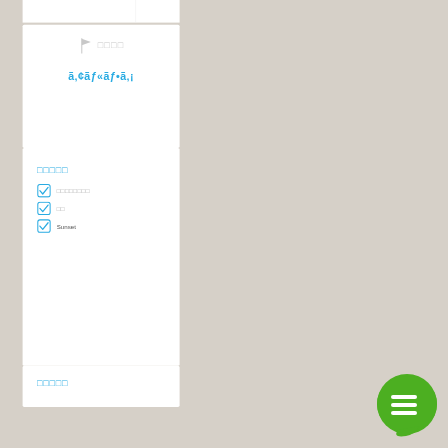[Figure (screenshot): App UI screenshot showing a checklist card with a flag icon and garbled text (encoding issue), followed by a section with blue header and checked checkboxes for items including garbled text and 'Sunset'. A green chat bubble icon is visible in the lower right.]
□□□□□
☑ □□□□□□□□
☑ □□
☑ Sunset
□□□□□